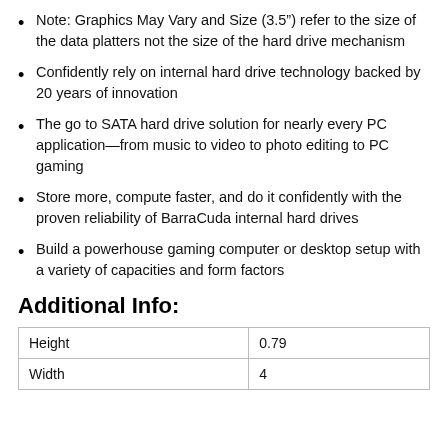Note: Graphics May Vary and Size (3.5”) refer to the size of the data platters not the size of the hard drive mechanism
Confidently rely on internal hard drive technology backed by 20 years of innovation
The go to SATA hard drive solution for nearly every PC application—from music to video to photo editing to PC gaming
Store more, compute faster, and do it confidently with the proven reliability of BarraCuda internal hard drives
Build a powerhouse gaming computer or desktop setup with a variety of capacities and form factors
Additional Info:
| Height | 0.79 |
| Width | 4 |